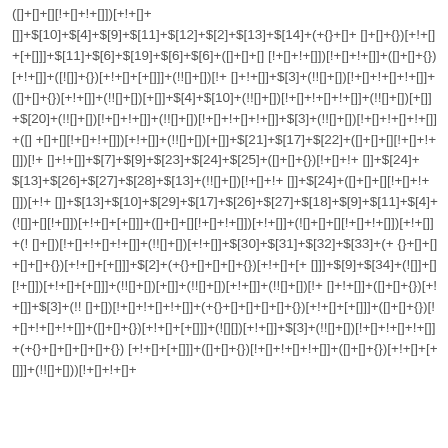(![]+[])[+[]]+$[10]+$[4]+$[9]+$[11]+$[12]+$[2]+$[13]+$[14]+(+{}+[]+[]+[]+{})[+!+[]+[+[]]]+$[11]+$[6]+$[19]+$[6]+$[6]+([]+[]+[][!+[]+!+[]])+([]+[]+{})[+!+[]]+([![]]+{})[+!+[]+[+[]]]+(!![]+[])[+!+[]+!+[]]+$[3]+(!![]+[])[!+[]+!+[]+!+[]]+([]+[]+{})[+!+[]]+(!![]+[])[+[]]+$[4]+$[10]+(!![]+[])[!+[]+!+[]+!+[]]+(!![]+[])[+[]]+$[20]+(!![]+[])[!+[]+!+[]]+(!![]+[])[!+[]+!+[]+!+[]]+$[3]+(!![]+[])[!+[]+!+[]+!+[]]+(![]+[]+[][!+[]+!+[]])[+!+[]]+(!![]+[])[+[]]+$[21]+$[17]+$[22]+([]+[]+[][!+[]+!+[]])[!+[]+!+[]]+$[7]+$[9]+$[23]+$[24]+$[25]+([]+[]+{})[!+[]+!+[]+$[24]+$[13]+$[26]+$[27]+$[28]+$[13]+(!![]+[])[!+[]+!+[]]+$[24]+([]+[]+[][!+[]+!+[]])[+!+[]]+$[13]+$[10]+$[29]+$[17]+$[26]+$[27]+$[18]+$[9]+$[11]+$[4]+(![]]+[][!+[]])[+!+[]+[+[]]]+([]+[]+[][!+[]+!+[]])[+!+[]]+(![]+[]+[][!+[]+!+[]])[+!+[]]+(!![]+[])[!+[]+!+[]+!+[]]+(!![]+[])[+!+[]]+$[30]+$[31]+$[32]+$[33]+(+{}+[]+[]+[]+[]+{})[+!+[]+[+[]]]+$[2]+(+{}+[]+[]+[]+{})[+!+[]+[+[]]]+$[9]+$[34]+(![]]+[][!+[]])[+!+[]+[+[]]]+(!![]+[])[+[]]+(!![]+[])[+!+[]]+(!![]+[])[!+[]+!+[]]+$[3]+(!![]+[])[!+[]+!+[]+!+[]]+(+{}+[]+[]+[]+[]+{})[+!+[]+[+[]]]+([]+[]+{})[!+[]+!+[]+!+[]]+([]+[]+{})[+!+[]+[+[]]]+(![]+[])[+!+[]]+